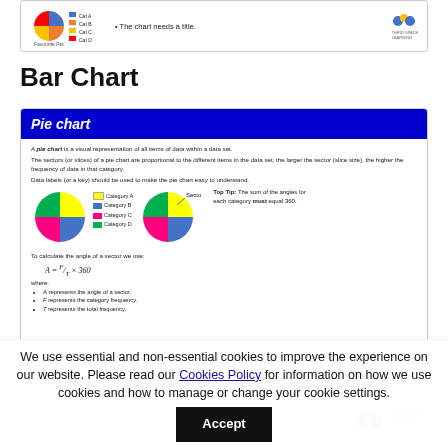[Figure (other): Top card partially visible showing a mini bar/pie chart labeled 'Favourite Pet' with a bullet point: 'The chart needs a title.' and a logo in the corner.]
Bar Chart
[Figure (infographic): Blue-header card titled 'Pie chart' with text explaining pie charts, two pie chart diagrams (one with legend showing Category A/B/C/D, one with Sector label), a formula A = F/T × 360, where clause, and a Top Tip box.]
We use essential and non-essential cookies to improve the experience on our website. Please read our Cookies Policy for information on how we use cookies and how to manage or change your cookie settings.